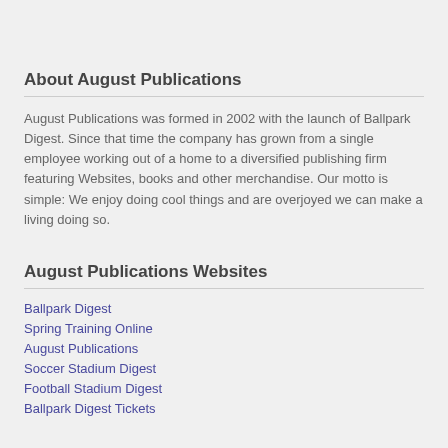About August Publications
August Publications was formed in 2002 with the launch of Ballpark Digest. Since that time the company has grown from a single employee working out of a home to a diversified publishing firm featuring Websites, books and other merchandise. Our motto is simple: We enjoy doing cool things and are overjoyed we can make a living doing so.
August Publications Websites
Ballpark Digest
Spring Training Online
August Publications
Soccer Stadium Digest
Football Stadium Digest
Ballpark Digest Tickets